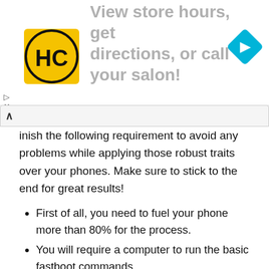[Figure (other): Advertisement banner with HC salon logo, navigation icon, and text 'View store hours, get directions, or call your salon!']
...inish the following requirement to avoid any problems while applying those robust traits over your phones. Make sure to stick to the end for great results!
First of all, you need to fuel your phone more than 80% for the process.
You will require a computer to run the basic fastboot commands.
Make sure you have installed the essential fastboot and USB drivers.